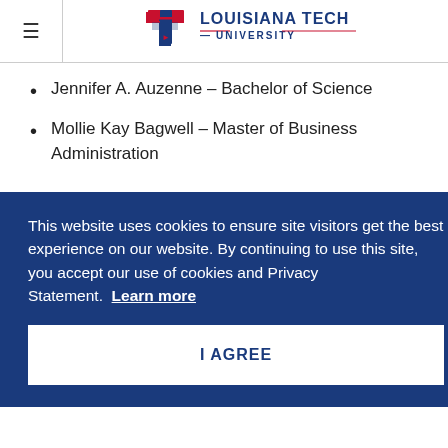Louisiana Tech University
Jennifer A. Auzenne – Bachelor of Science
Mollie Kay Bagwell – Master of Business Administration
This website uses cookies to ensure site visitors get the best experience on our website. By continuing to use this site, you accept our use of cookies and Privacy Statement. Learn more
I AGREE